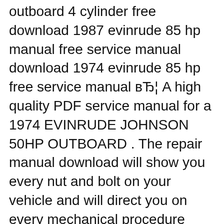outboard 4 cylinder free download 1987 evinrude 85 hp manual free service manual download 1974 evinrude 85 hp free service manual вЂ¦ A high quality PDF service manual for a 1974 EVINRUDE JOHNSON 50HP OUTBOARD . The repair manual download will show you every nut and bolt on your vehicle and will direct you on every mechanical procedure imaginable.
Shop Crowley Marine for 1974 Evinrude Outboards. Offering discount prices on OEM parts for over 50 years. FAST $3.95 shipping available. View and Download Evinrude E-Tec operator's manual online. 40, 50, 60 Horsepower EL, PL. Evinrude E-TEC Operator's Manual 84